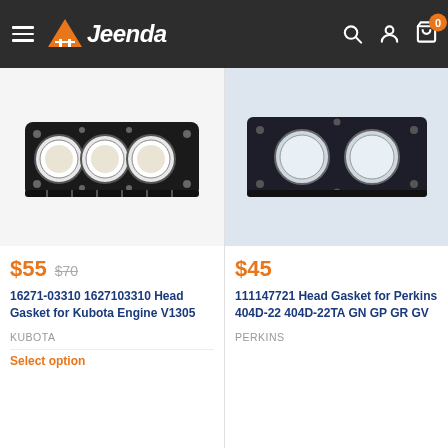Jeenda
[Figure (photo): Head gasket for Kubota Engine V1305 - black metallic gasket with four circular cylinder openings]
$55  $70
16271-03310 1627103310 Head Gasket for Kubota Engine V1305
KUBOTA
[Figure (photo): Head gasket for Perkins 404D-22 engine - partially visible]
$45
111147721 Head Gasket for Perkins 404D-22 404D-22TA GN GP GR GV
PERKINS